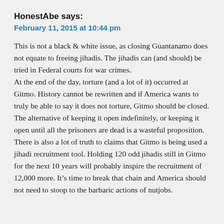HonestAbe says:
February 11, 2015 at 10:44 pm
This is not a black & white issue, as closing Guantanamo does not equate to freeing jihadis. The jihadis can (and should) be tried in Federal courts for war crimes.
At the end of the day, torture (and a lot of it) occurred at Gitmo. History cannot be rewritten and if America wants to truly be able to say it does not torture, Gitmo should be closed. The alternative of keeping it open indefinitely, or keeping it open until all the prisoners are dead is a wasteful proposition.
There is also a lot of truth to claims that Gitmo is being used a jihadi recruitment tool. Holding 120 odd jihadis still in Gitmo for the next 10 years will probably inspire the recruitment of 12,000 more. It’s time to break that chain and America should not need to stoop to the barbaric actions of nutjobs.